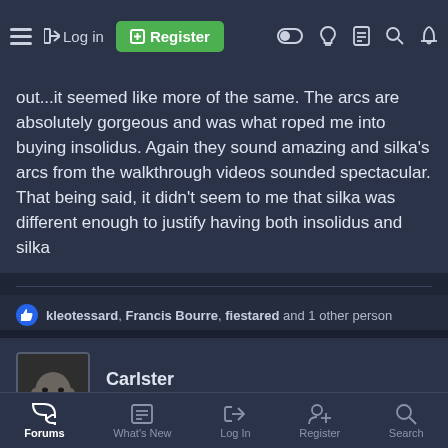Log in | Register
out...it seemed like more of the same. The arcs are absolutely gorgeous and was what roped me into buying insolidus. Again they sound amazing and silka's arcs from the walkthrough videos sounded spectacular. That being said, it didn't seem to me that silka was different enough to justify having both insolidus and silka
kleotessard, Francis Bourre, fiestared and 1 other person
Carlster
New Member
Nov 9, 2019
#3
Forums | What's New | Log In | Register | Search